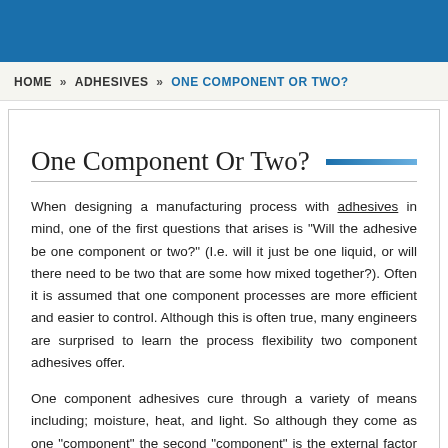HOME » ADHESIVES » ONE COMPONENT OR TWO?
One Component Or Two?
When designing a manufacturing process with adhesives in mind, one of the first questions that arises is “Will the adhesive be one component or two?” (I.e. will it just be one liquid, or will there need to be two that are some how mixed together?). Often it is assumed that one component processes are more efficient and easier to control. Although this is often true, many engineers are surprised to learn the process flexibility two component adhesives offer.
One component adhesives cure through a variety of means including; moisture, heat, and light. So although they come as one “component” the second “component” is the external factor that affects the cure